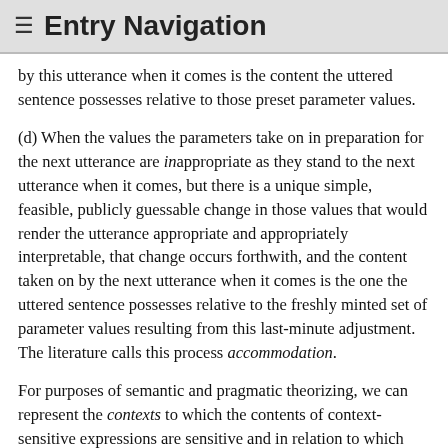≡ Entry Navigation
by this utterance when it comes is the content the uttered sentence possesses relative to those preset parameter values.
(d) When the values the parameters take on in preparation for the next utterance are inappropriate as they stand to the next utterance when it comes, but there is a unique simple, feasible, publicly guessable change in those values that would render the utterance appropriate and appropriately interpretable, that change occurs forthwith, and the content taken on by the next utterance when it comes is the one the uttered sentence possesses relative to the freshly minted set of parameter values resulting from this last-minute adjustment. The literature calls this process accommodation.
For purposes of semantic and pragmatic theorizing, we can represent the contexts to which the contents of context-sensitive expressions are sensitive and in relation to which they can be of possible values for the...